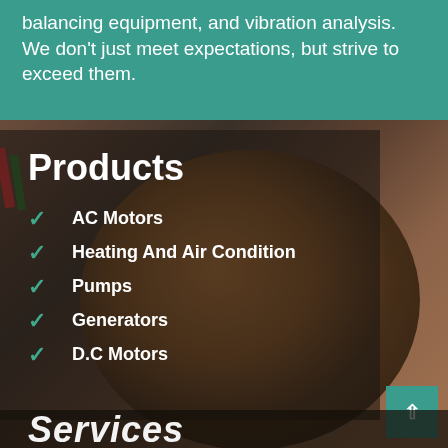balancing equipment, and vibration analysis. We don't just meet expectations, but strive to exceed them.
[Figure (photo): Close-up photograph of an electric motor stator with copper coil windings, showing the internal components of an AC motor]
Products
AC Motors
Heating And Air Condition
Pumps
Generators
D.C Motors
Services